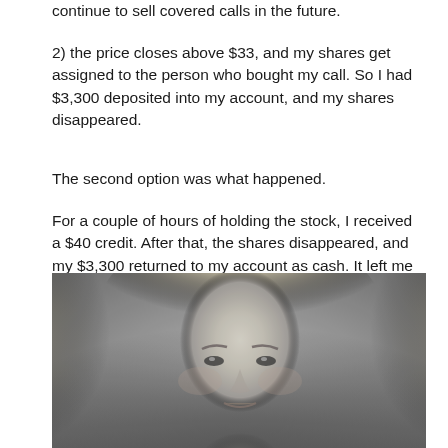continue to sell covered calls in the future.
2) the price closes above $33, and my shares get assigned to the person who bought my call. So I had $3,300 deposited into my account, and my shares disappeared.
The second option was what happened.
For a couple of hours of holding the stock, I received a $40 credit. After that, the shares disappeared, and my $3,300 returned to my account as cash. It left me with $3,340 to repeat the process.
[Figure (photo): Black and white portrait photo of a blonde woman looking at the camera]